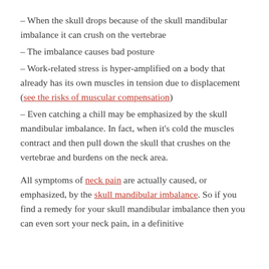– When the skull drops because of the skull mandibular imbalance it can crush on the vertebrae
– The imbalance causes bad posture
– Work-related stress is hyper-amplified on a body that already has its own muscles in tension due to displacement (see the risks of muscular compensation)
– Even catching a chill may be emphasized by the skull mandibular imbalance. In fact, when it's cold the muscles contract and then pull down the skull that crushes on the vertebrae and burdens on the neck area.
All symptoms of neck pain are actually caused, or emphasized, by the skull mandibular imbalance. So if you find a remedy for your skull mandibular imbalance then you can even sort your neck pain, in a definitive